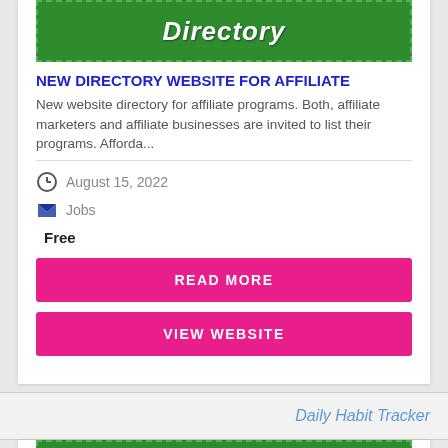[Figure (illustration): Green banner with dashed border showing partial text 'Directory' in white bold italic letters]
NEW DIRECTORY WEBSITE FOR AFFILIATE
New website directory for affiliate programs. Both, affiliate marketers and affiliate businesses are invited to list their programs. Afforda...
August 15, 2022
Jobs
Free
READ MORE
VIEW WEBSITE
Daily Habit Tracker
[Figure (illustration): Partial green banner visible at bottom of page, same style as top banner]